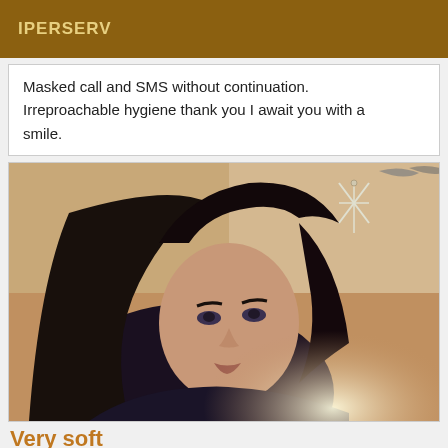IPERSERV
Masked call and SMS without continuation. Irreproachable hygiene thank you I await you with a smile.
[Figure (photo): A woman with long dark hair wearing a dark top, taking a selfie. Background shows a beige/brown floor and a decorative wall hanging.]
Very soft